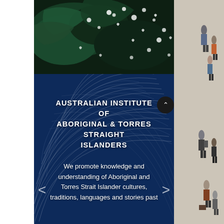[Figure (photo): Aerial or close-up photo of water with dark green leaves and water droplets on the surface, top portion of the page]
[Figure (photo): Long-exposure night sky star trails photo with circular light streaks on a deep blue background]
AUSTRALIAN INSTITUTE OF ABORIGINAL & TORRES STRAIGHT ISLANDERS
We promote knowledge and understanding of Aboriginal and Torres Strait Islander cultures, traditions, languages and stories past
[Figure (photo): Aerial view of people walking on a light-colored surface, right side strip of the page]